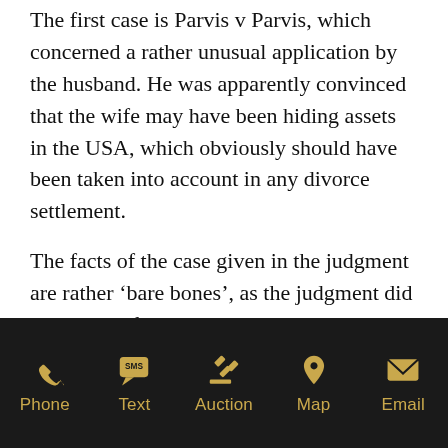The first case is Parvis v Parvis, which concerned a rather unusual application by the husband. He was apparently convinced that the wife may have been hiding assets in the USA, which obviously should have been taken into account in any divorce settlement.
The facts of the case given in the judgment are rather ‘bare bones’, as the judgment did not require full details. Essentially, the parties began a relationship in this country in 1992, in 2001 they purchased a property in Florida, and they were married in January 2004. In July
Phone  Text  Auction  Map  Email